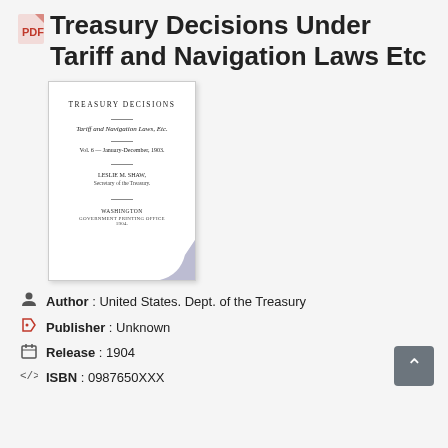Treasury Decisions Under Tariff and Navigation Laws Etc
[Figure (photo): Scanned book cover of Treasury Decisions - Tariff and Navigation Laws, Etc. Vol. 6 January-December 1903, by Leslie M. Shaw, Secretary of the Treasury. Washington Government Printing Office 1904. A page curl is visible at bottom right of the cover.]
Author : United States. Dept. of the Treasury
Publisher : Unknown
Release : 1904
ISBN : 0987650XXX